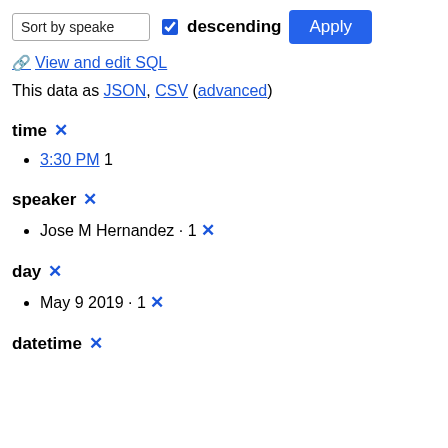Sort by speaker [dropdown] descending [checkbox] Apply [button]
🔗 View and edit SQL
This data as JSON, CSV (advanced)
time ✕
3:30 PM 1
speaker ✕
Jose M Hernandez · 1 ✕
day ✕
May 9 2019 · 1 ✕
datetime ✕